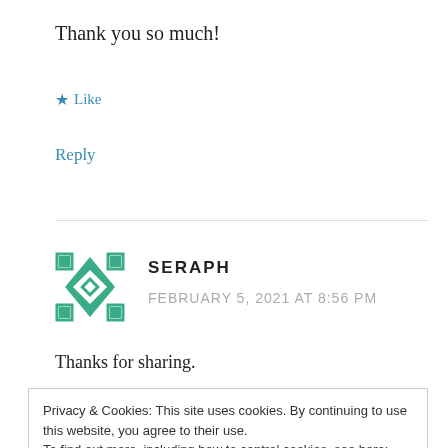Thank you so much!
★ Like
Reply
[Figure (illustration): Geometric teal/green avatar icon with diamond and square pattern for user SERAPH]
SERAPH
FEBRUARY 5, 2021 AT 8:56 PM
Thanks for sharing.
Privacy & Cookies: This site uses cookies. By continuing to use this website, you agree to their use.
To find out more, including how to control cookies, see here: Cookie Policy
Close and accept